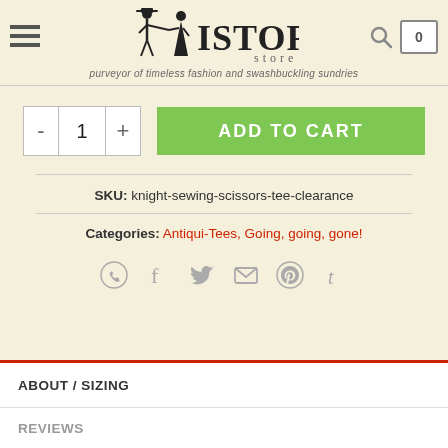Historica Store — purveyor of timeless fashion and swashbuckling sundries
- 1 + ADD TO CART
SKU: knight-sewing-scissors-tee-clearance
Categories: Antiqui-Tees, Going, going, gone!
[Figure (infographic): Social share icons: WhatsApp, Facebook, Twitter, Email, Pinterest, Tumblr]
ABOUT / SIZING
REVIEWS